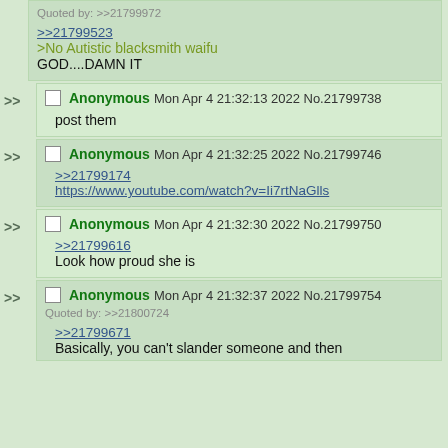Quoted by: >>21799972
>>21799523
>No Autistic blacksmith waifu
GOD....DAMN IT
Anonymous Mon Apr 4 21:32:13 2022 No.21799738
post them
Anonymous Mon Apr 4 21:32:25 2022 No.21799746
>>21799174
https://www.youtube.com/watch?v=Ii7rtNaGlls
Anonymous Mon Apr 4 21:32:30 2022 No.21799750
>>21799616
Look how proud she is
Anonymous Mon Apr 4 21:32:37 2022 No.21799754
Quoted by: >>21800724
>>21799671
Basically, you can't slander someone and then